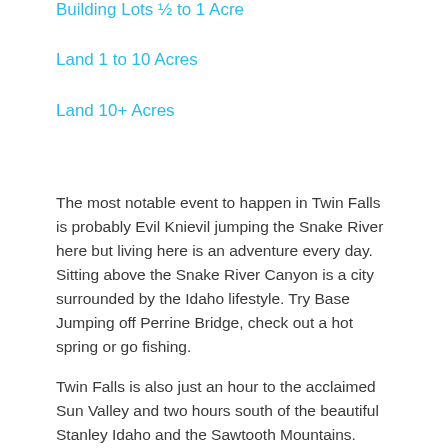Building Lots ½ to 1 Acre
Land 1 to 10 Acres
Land 10+ Acres
The most notable event to happen in Twin Falls is probably Evil Knievil jumping the Snake River here but living here is an adventure every day. Sitting above the Snake River Canyon is a city surrounded by the Idaho lifestyle. Try Base Jumping off Perrine Bridge, check out a hot spring or go fishing.
Twin Falls is also just an hour to the acclaimed Sun Valley and two hours south of the beautiful Stanley Idaho and the Sawtooth Mountains.